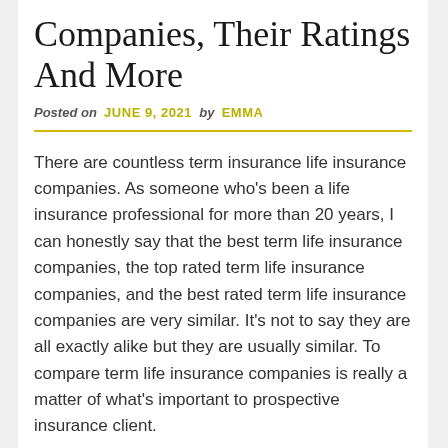Companies, Their Ratings And More
Posted on JUNE 9, 2021 by EMMA
There are countless term insurance life insurance companies. As someone who's been a life insurance professional for more than 20 years, I can honestly say that the best term life insurance companies, the top rated term life insurance companies, and the best rated term life insurance companies are very similar. It's not to say they are all exactly alike but they are usually similar. To compare term life insurance companies is really a matter of what's important to prospective insurance client.
Your priority
My experience has been that what most people are concerned with when it comes to term insurance is what it will cost them.